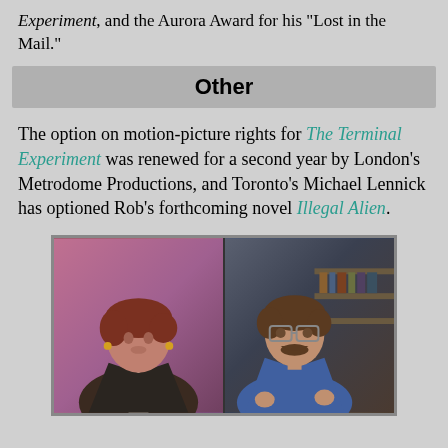Experiment, and the Aurora Award for his "Lost in the Mail."
Other
The option on motion-picture rights for The Terminal Experiment was renewed for a second year by London's Metrodome Productions, and Toronto's Michael Lennick has optioned Rob's forthcoming novel Illegal Alien.
[Figure (photo): Two people in a split-screen TV-style photo: on the left, a woman with short reddish-brown hair wearing a dark jacket over a white shirt; on the right, a man with glasses, beard and mustache, wearing a blue shirt.]